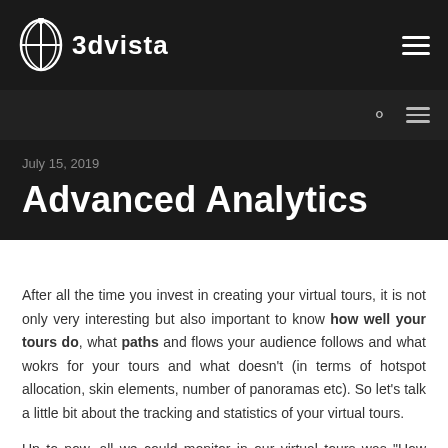3dvista
July 15, 2019
Advanced Analytics
After all the time you invest in creating your virtual tours, it is not only very interesting but also important to know how well your tours do, what paths and flows your audience follows and what wokrs for your tours and what doesn't (in terms of hotspot allocation, skin elements, number of panoramas etc). So let's talk a little bit about the tracking and statistics of your virtual tours.
Up to now, all we could monitor in our virtual tours was "How many people entered to see the tour as a whole?"